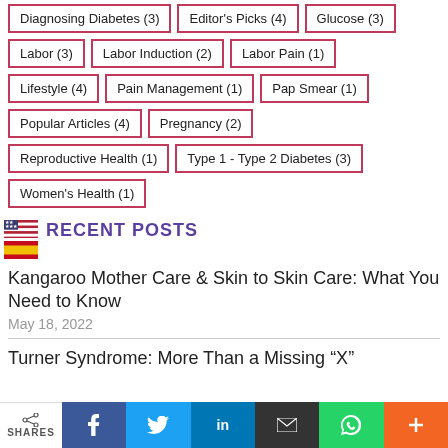Diagnosing Diabetes (3)
Editor's Picks (4)
Glucose (3)
Labor (3)
Labor Induction (2)
Labor Pain (1)
Lifestyle (4)
Pain Management (1)
Pap Smear (1)
Popular Articles (4)
Pregnancy (2)
Reproductive Health (1)
Type 1 - Type 2 Diabetes (3)
Women's Health (1)
[Figure (illustration): US flag and Spanish flag icons for language selection]
RECENT POSTS
Kangaroo Mother Care & Skin to Skin Care: What You Need to Know
May 18, 2022
Turner Syndrome: More Than a Missing “X”
[Figure (infographic): Social share bar with Facebook, Twitter, LinkedIn, Email, WhatsApp, and Plus buttons. SHARES label on left.]